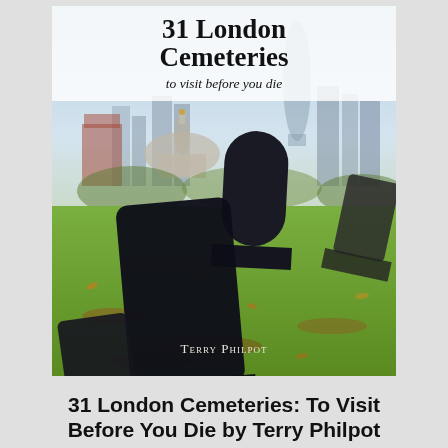[Figure (photo): Book cover of '31 London Cemeteries to visit before you die' by Terry Philpot. Shows dark gravestones in the foreground with the London skyline including St Paul's Cathedral dome and modern skyscrapers in the background. Green grass and autumn leaves visible.]
31 London Cemeteries: To Visit Before You Die by Terry Philpot